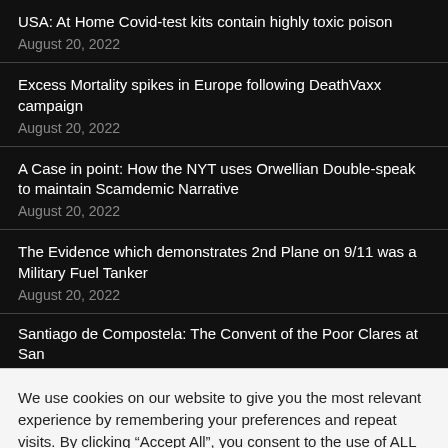USA: At Home Covid-test kits contain highly toxic poison
August 20, 2022
Excess Mortality spikes in Europe following DeathVaxx campaign
August 20, 2022
A Case in point: How the NYT uses Orwellian Double-speak to maintain Scamdemic Narrative
August 20, 2022
The Evidence which demonstrates 2nd Plane on 9/11 was a Military Fuel Tanker
August 20, 2022
Santiago de Compostela: The Convent of the Poor Clares at San
We use cookies on our website to give you the most relevant experience by remembering your preferences and repeat visits. By clicking “Accept All”, you consent to the use of ALL the cookies. However, you may visit "Cookie Settings" to provide a controlled consent.
Cookie Settings | Accept All